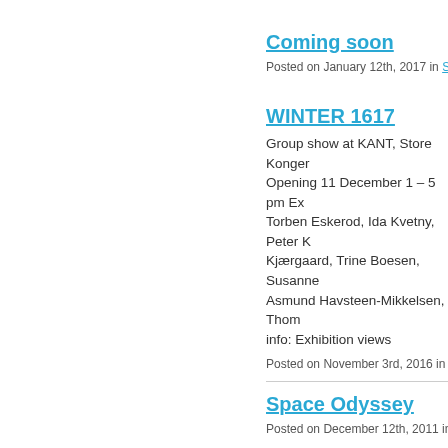Coming soon
Posted on January 12th, 2017 in Selected
WINTER 1617
Group show at KANT, Store Konger Opening 11 December 1 – 5 pm Ex Torben Eskerod, Ida Kvetny, Peter K Kjærgaard, Trine Boesen, Susanne Asmund Havsteen-Mikkelsen, Thom info: Exhibition views
Posted on November 3rd, 2016 in Exhibitio
Space Odyssey
Posted on December 12th, 2011 in Selecte